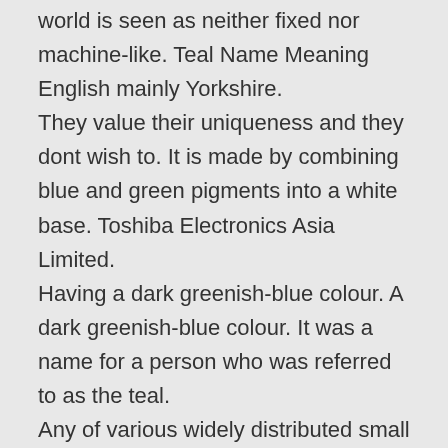world is seen as neither fixed nor machine-like. Teal Name Meaning English mainly Yorkshire. They value their uniqueness and they dont wish to. It is made by combining blue and green pigments into a white base. Toshiba Electronics Asia Limited. Having a dark greenish-blue colour. A dark greenish-blue colour. It was a name for a person who was referred to as the teal. Any of various widely distributed small short-necked dabblers genus Anas compare blue-winged teal green-winged teal. Teachers of English as an Additional Language. Instead its viewed as a place where everyone is called by an inner voice to contribute based on their unique potential. It is a revitalizing and rejuvenating color that also